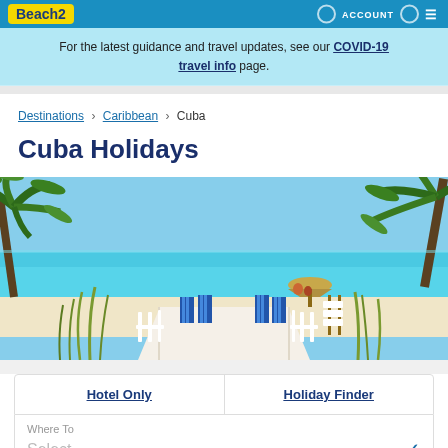Beach2 | ACCOUNT
For the latest guidance and travel updates, see our COVID-19 travel info page.
Destinations > Caribbean > Cuba
Cuba Holidays
[Figure (photo): Tropical beach scene viewed through palm trees, with white sandy beach, turquoise water, a thatched hut, and blue-and-white striped beach cabanas along a white wooden walkway.]
Hotel Only | Holiday Finder
Where To
Select